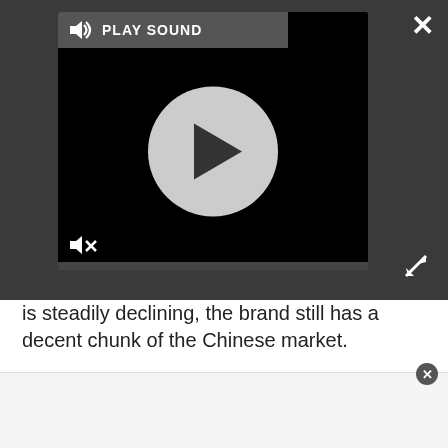[Figure (screenshot): Video player widget with play button, speaker/sound icon, PLAY SOUND label, mute icon, and progress bar on dark background overlay. Also shows X close button and expand/fullscreen icon.]
is steadily declining, the brand still has a decent chunk of the Chinese market.
With Huawei no longer able to turn to its in-house HiSilicon unit to deliver the Kirin designs that go in its phones, it needs an alternative. MediaTek is setting itself up to be just that; it already outfits Huawei with 4G-enabled chipsets for budget and mid-range phones, and it is looking to do the same in the high-end category, posits Kundojjala.
[Figure (screenshot): White banner advertisement area at the bottom of the page with a close (X) button circle.]